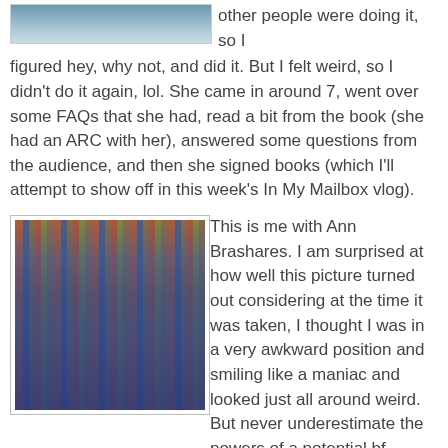[Figure (photo): Partial photo at top, cropped, showing upper portion of an image]
other people were doing it, so I figured hey, why not, and did it. But I felt weird, so I didn't do it again, lol. She came in around 7, went over some FAQs that she had, read a bit from the book (she had an ARC with her), answered some questions from the audience, and then she signed books (which I'll attempt to show off in this week's In My Mailbox vlog).
[Figure (photo): Photo of two people (a man in a blue sweater and a woman with long dark hair) standing together in front of bookshelves in what appears to be a bookstore]
This is me with Ann Brashares. I am surprised at how well this picture turned out considering at the time it was taken, I thought I was in a very awkward position and smiling like a maniac and looked just all around weird. But never underestimate the powers of a potential bf-